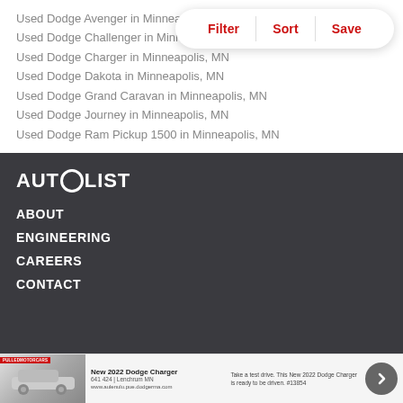Used Dodge Avenger in Minneapolis, MN
Used Dodge Challenger in Minneapolis, MN
Used Dodge Charger in Minneapolis, MN
Used Dodge Dakota in Minneapolis, MN
Used Dodge Grand Caravan in Minneapolis, MN
Used Dodge Journey in Minneapolis, MN
Used Dodge Ram Pickup 1500 in Minneapolis, MN
[Figure (logo): AUTOLIST logo in white text on dark background with circular O]
ABOUT
ENGINEERING
CAREERS
CONTACT
[Figure (screenshot): Advertisement bar at bottom showing a 2022 Dodge Charger car with text and a forward arrow button]